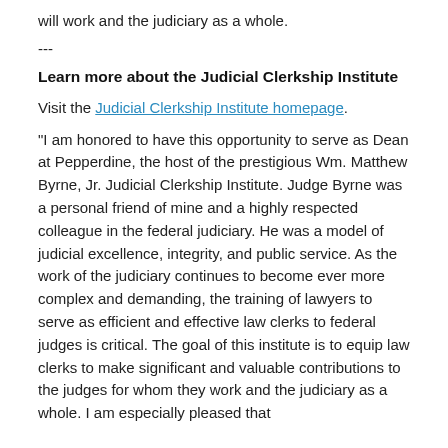will work and the judiciary as a whole.
---
Learn more about the Judicial Clerkship Institute
Visit the Judicial Clerkship Institute homepage.
"I am honored to have this opportunity to serve as Dean at Pepperdine, the host of the prestigious Wm. Matthew Byrne, Jr. Judicial Clerkship Institute. Judge Byrne was a personal friend of mine and a highly respected colleague in the federal judiciary. He was a model of judicial excellence, integrity, and public service. As the work of the judiciary continues to become ever more complex and demanding, the training of lawyers to serve as efficient and effective law clerks to federal judges is critical. The goal of this institute is to equip law clerks to make significant and valuable contributions to the judges for whom they work and the judiciary as a whole. I am especially pleased that